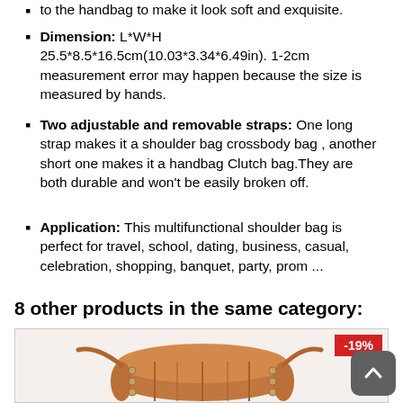to the handbag to make it look soft and exquisite.
Dimension: L*W*H 25.5*8.5*16.5cm(10.03*3.34*6.49in). 1-2cm measurement error may happen because the size is measured by hands.
Two adjustable and removable straps: One long strap makes it a shoulder bag crossbody bag , another short one makes it a handbag Clutch bag.They are both durable and won't be easily broken off.
Application: This multifunctional shoulder bag is perfect for travel, school, dating, business, casual, celebration, shopping, banquet, party, prom ...
8 other products in the same category:
[Figure (photo): Product image of a brown/tan cylindrical barrel handbag with metal studs and straps, shown in a product listing box with a -19% discount badge in the top right corner.]